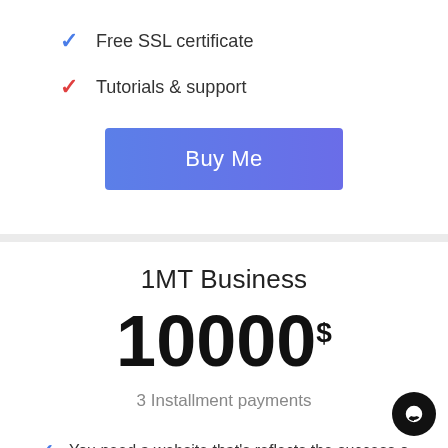Free SSL certificate
Tutorials & support
Buy Me
1MT Business
10000$
3 Installment payments
You need a website that's reflects the success o